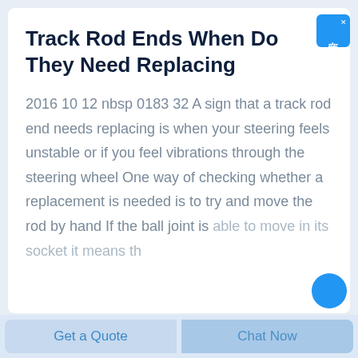Track Rod Ends When Do They Need Replacing
2016 10 12 nbsp 0183 32 A sign that a track rod end needs replacing is when your steering feels unstable or if you feel vibrations through the steering wheel One way of checking whether a replacement is needed is to try and move the rod by hand If the ball joint is able to move in its socket it means th
[Figure (other): Chinese chat widget button with blue background showing 在线咨询 (online consultation) text]
Get a Quote
Chat Now